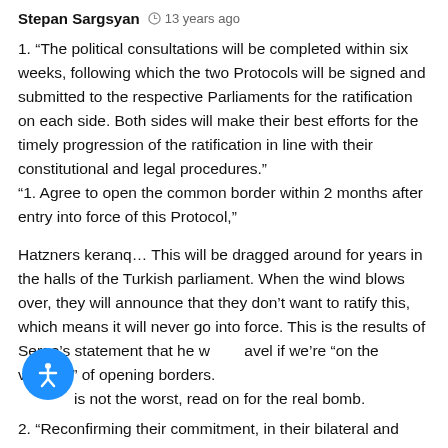Stepan Sargsyan  13 years ago
1. “The political consultations will be completed within six weeks, following which the two Protocols will be signed and submitted to the respective Parliaments for the ratification on each side. Both sides will make their best efforts for the timely progression of the ratification in line with their constitutional and legal procedures.”
“1. Agree to open the common border within 2 months after entry into force of this Protocol,”
Hatzners keranq… This will be dragged around for years in the halls of the Turkish parliament. When the wind blows over, they will announce that they don’t want to ratify this, which means it will never go into force. This is the results of Serge’s statement that he w___avel if we’re “on the verge…” of opening borders. ___is not the worst, read on for the real bomb.
2. “Reconfirming their commitment, in their bilateral and